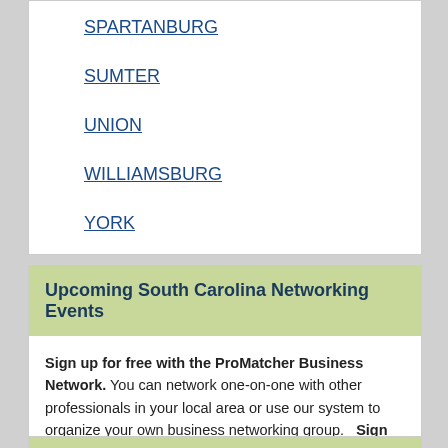SPARTANBURG
SUMTER
UNION
WILLIAMSBURG
YORK
Upcoming South Carolina Networking Events
Sign up for free with the ProMatcher Business Network. You can network one-on-one with other professionals in your local area or use our system to organize your own business networking group.   Sign Up Now.